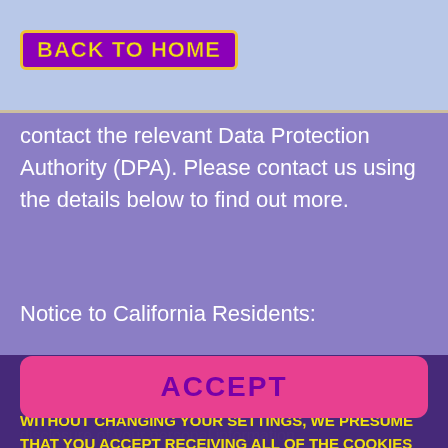BACK TO HOME
contact the relevant Data Protection Authority (DPA). Please contact us using the details below to find out more.
Notice to California Residents:
If you are a California resident, California Civil Code Section 1798.83 permits you to disclosure of your personal information
WE USE COOKIES TO GIVE YOU THE BEST POSSIBLE EXPERIENCE ON OUR WEBSITE. IF YOU CONTINUE WITHOUT CHANGING YOUR SETTINGS, WE PRESUME THAT YOU ACCEPT RECEIVING ALL OF THE COOKIES ON OUR SITE. READ MORE
ACCEPT